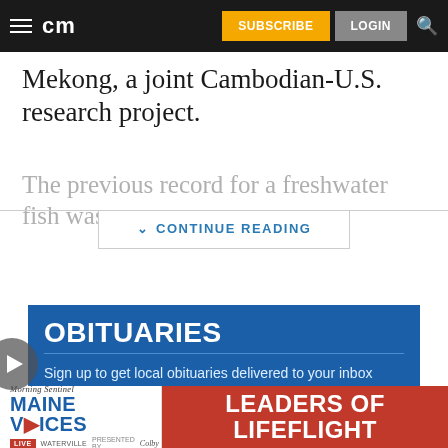cm | SUBSCRIBE | LOGIN
Mekong, a joint Cambodian-U.S. research project.
The previous record for a freshwater fish was a
CONTINUE READING
OBITUARIES
Sign up to get local obituaries delivered to your inbox each morning from Tuesday through Sunday.
[Figure (infographic): Morning Sentinel Maine Voices Live Waterville Presented by Colby advertisement banner with LEADERS OF LIFEFLIGHT text on red background]